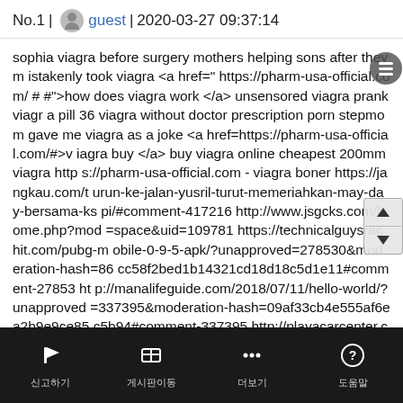No.1 | guest | 2020-03-27 09:37:14
sophia viagra before surgery mothers helping sons after they mistakenly took viagra <a href=" https://pharm-usa-official.com/# #">how does viagra work </a> unsensored viagra prank viagra pill 36 viagra without doctor prescription porn stepmom gave me viagra as a joke <a href=https://pharm-usa-official.com/#>viagra buy </a> buy viagra online cheapest 200mm viagra https://pharm-usa-official.com - viagra boner https://jangkau.com/turun-ke-jalan-yusril-turut-memeriahkan-may-day-bersama-kspi/#comment-417216 http://www.jsgcks.com/home.php?mod=space&uid=109781 https://technicalguysrachit.com/pubg-mobile-0-9-5-apk/?unapproved=278530&moderation-hash=86cc58f2bed1b14321cd18d18c5d1e11#comment-278530 http://manalifeguide.com/2018/07/11/hello-world/?unapproved=337395&moderation-hash=09af33cb4e555af6ea2b9e9ce85c5b94#comment-337395 http://playacarcenter.com/blog/la-historia-detras-la-ceiba/?unapproved=36745&moderation-hash=eec9cf82be2595cd3f461459a2f33a70#comment-36745
신고하기  게시판이동  더보기  도움말